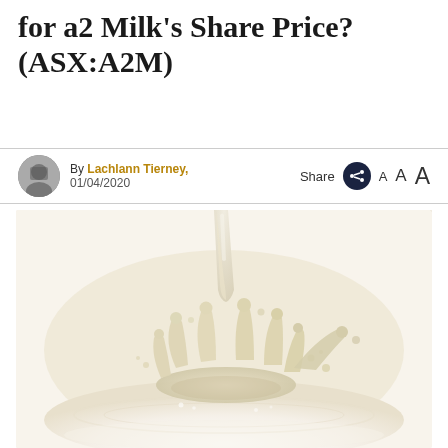for a2 Milk's Share Price? (ASX:A2M)
By Lachlann Tierney, 01/04/2020  Share  A  A  A
[Figure (photo): Close-up photograph of milk being poured, creating a splash with crown-like droplets on a white surface]